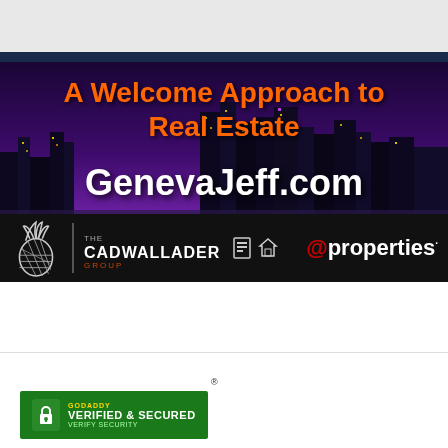[Figure (screenshot): Website banner for GenevaJeff.com real estate site showing Chicago skyline at night with purple/blue sky. Text reads 'A Welcome Approach to Real Estate' in orange and 'GenevaJeff.com' in white. Bottom bar shows The Cadwallader Group logo with pineapple and @properties branding.]
[Figure (logo): GoDaddy Verified & Secured badge in green with lock icon]
Username